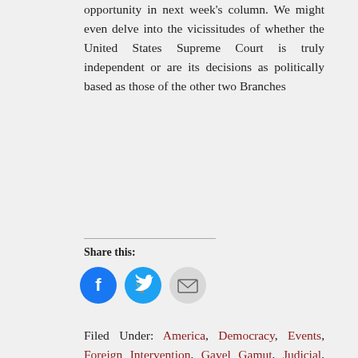opportunity in next week's column. We might even delve into the vicissitudes of whether the United States Supreme Court is truly independent or are its decisions as politically based as those of the other two Branches
Share this:
[Figure (infographic): Three social sharing icons: Facebook (blue circle with F), Twitter (blue circle with bird), and Email (grey circle with envelope)]
Filed Under: America, Democracy, Events, Foreign Intervention, Gavel Gamut, Judicial, Presidential Campaign, Russia, Ukraine Tagged With: anti-Federalists, Federalists, foreign assets, Gentle Reader, Harvard law professor Michael Klarman, James M. Redwine, James Madison, Jim Redwine, Of Randolph and Pericles, Positive To...